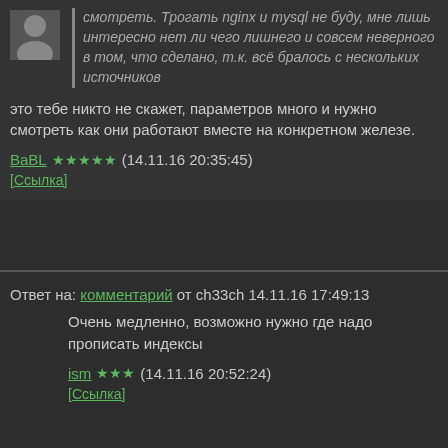смотреть. Трогать nginx и mysql не буду, мне лишь интересно нет ли чего лишнего и совсем неверного в том, что сделано, т.к. всё бралось с нескольких источников
это тебе никто не скажет, параметров много и нужно смотреть как они работают вместе на конкретном железе.
BaBL ★★★★★ (14.11.16 20:35:45)
[Ссылка]
Ответ на: комментарий от ch33ch 14.11.16 17:49:13
Очень медленно, возможно нужно где надо прописать индексы
ism ★★★ (14.11.16 20:52:24)
[Ссылка]